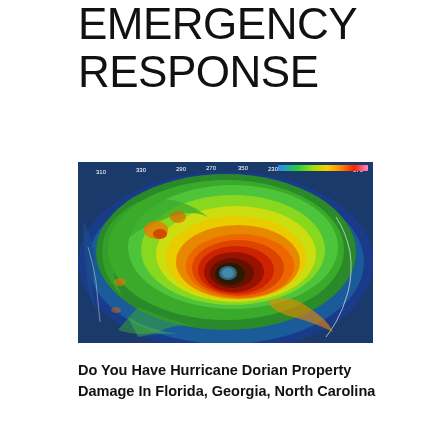EMERGENCY RESPONSE
[Figure (photo): Satellite radar image of a hurricane showing a color-coded wind/rain intensity map. The spiral storm structure is visible with a clear eye at center. Colors range from blue (low intensity) through green, yellow, orange to red/dark red (highest intensity). Degree markers are visible along the top edge (110, 330, 290, 270, 350, 230, 210, 190, 170).]
Do You Have Hurricane Dorian Property Damage In Florida, Georgia, North Carolina